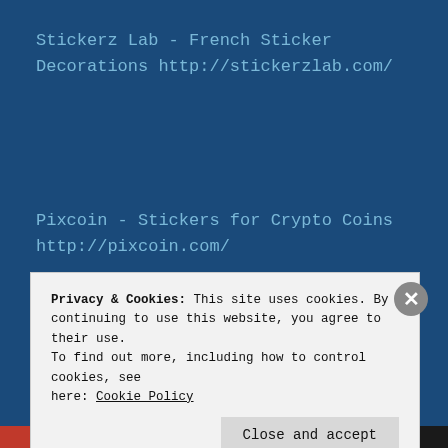Stickerz Lab - French Sticker Decorations http://stickerzlab.com/
Pixcoin - Stickers for Crypto Coins http://pixcoin.com/
Crypto GameKeys - Buy CD Keys, PSN cards, PS3/4/Vita games
Privacy & Cookies: This site uses cookies. By continuing to use this website, you agree to their use. To find out more, including how to control cookies, see here: Cookie Policy
Close and accept